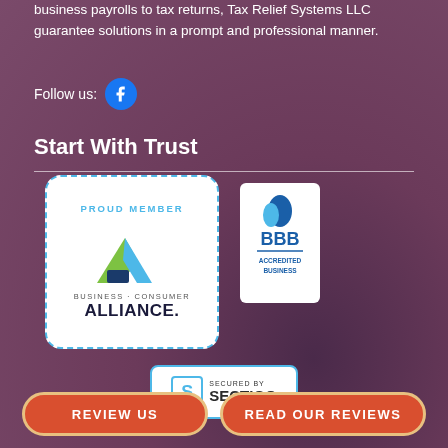business payrolls to tax returns, Tax Relief Systems LLC guarantee solutions in a prompt and professional manner.
Follow us:
Start With Trust
[Figure (logo): Business Consumer Alliance Proud Member badge - white rounded rectangle with dashed blue border, BCA logo with green and blue triangles, text PROUD MEMBER, BUSINESS CONSUMER ALLIANCE]
[Figure (logo): BBB Accredited Business badge - white rectangle with blue BBB logo and text ACCREDITED BUSINESS]
[Figure (logo): Secured by Sectigo badge - white rectangle with teal border, S icon, text SECURED BY SECTIGO]
REVIEW US
READ OUR REVIEWS